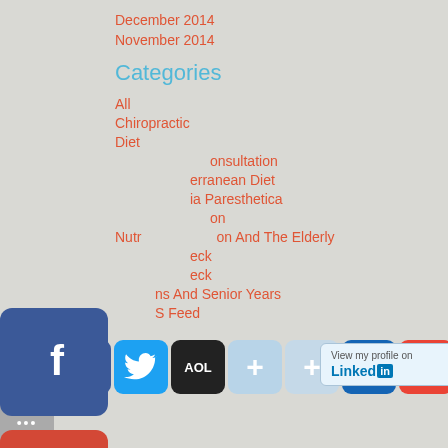December 2014
November 2014
Categories
All
Chiropractic
Diet
Free Consultation
Mediterranean Diet
Meralgia Paresthetica
Nutrition
Nutrition And The Elderly
Neck
Neck
Vitamins And Senior Years
RSS Feed
[Figure (screenshot): Social media sharing buttons row including Blogger, Facebook, Twitter, AOL, plus buttons, Mail, Gmail, LinkedIn, Pinterest, Yahoo icons, and a 'View my profile on LinkedIn' badge]